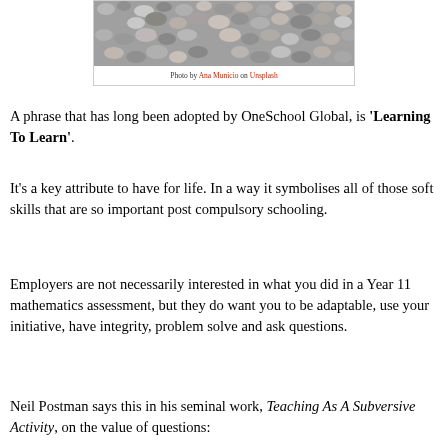[Figure (photo): Photograph of small gray and white gravel/pebbles, cropped at top]
Photo by Ana Municio on Unsplash
A phrase that has long been adopted by OneSchool Global, is 'Learning To Learn'.
It's a key attribute to have for life. In a way it symbolises all of those soft skills that are so important post compulsory schooling.
Employers are not necessarily interested in what you did in a Year 11 mathematics assessment, but they do want you to be adaptable, use your initiative, have integrity, problem solve and ask questions.
Neil Postman says this in his seminal work, Teaching As A Subversive Activity, on the value of questions: